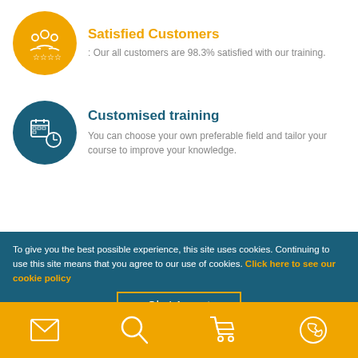Satisfied Customers
: Our all customers are 98.3% satisfied with our training.
Customised training
You can choose your own preferable field and tailor your course to improve your knowledge.
To give you the best possible experience, this site uses cookies. Continuing to use this site means that you agree to our use of cookies. Click here to see our cookie policy
Ok, I Accept